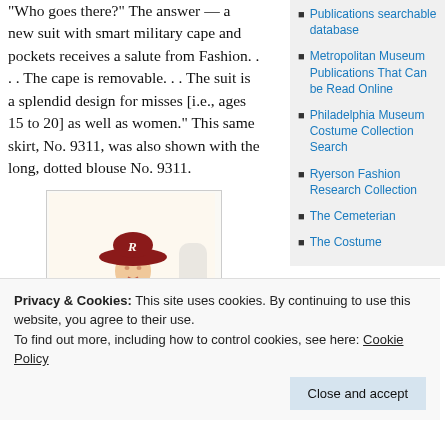"Who goes there?" The answer — a new suit with smart military cape and pockets receives a salute from Fashion. . . . The cape is removable. . . The suit is a splendid design for misses [i.e., ages 15 to 20] as well as women." This same skirt, No. 9311, was also shown with the long, dotted blouse No. 9311.
[Figure (illustration): Vintage fashion illustration of a woman wearing a wide-brimmed red hat with a decorative letter R, a light striped dress with red polka dots and a red bow at the neckline, a red sash belt, and holding an umbrella or parasol. The illustration is in a classic early 20th century style.]
Publications searchable database
Metropolitan Museum Publications That Can be Read Online
Philadelphia Museum Costume Collection Search
Ryerson Fashion Research Collection
The Cemeterian
The Costume
Privacy & Cookies: This site uses cookies. By continuing to use this website, you agree to their use.
To find out more, including how to control cookies, see here: Cookie Policy
Close and accept